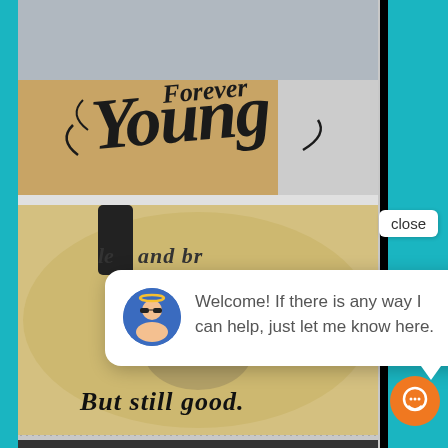[Figure (photo): Photo of a forearm tattoo reading 'Forever Young' in ornate script lettering]
[Figure (photo): Photo of a shoulder/chest tattoo reading 'and brave' at top and 'But still good.' at bottom with decorative imagery]
close
Welcome! If there is any way I can help, just let me know here.
[Figure (photo): Partial view of a third tattoo photo at very bottom of page]